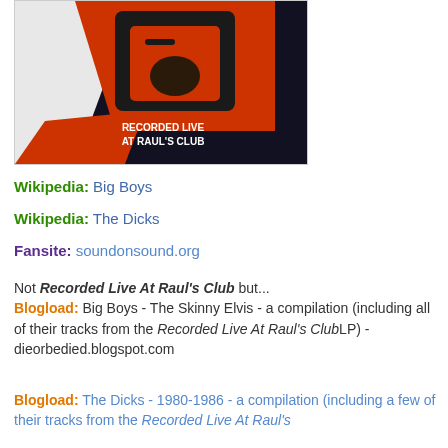[Figure (photo): Album cover art for 'Recorded Live At Raul's Club' — dark background with red/orange graphic shapes and white text reading 'RECORDED LIVE AT RAUL'S CLUB']
Wikipedia: Big Boys
Wikipedia: The Dicks
Fansite: soundonsound.org
Not Recorded Live At Raul's Club but...
Blogload: Big Boys - The Skinny Elvis - a compilation (including all of their tracks from the Recorded Live At Raul's Club LP) - dieorbedied.blogspot.com
Blogload: The Dicks - 1980-1986 - a compilation (including a few of their tracks from the Recorded Live At Raul's